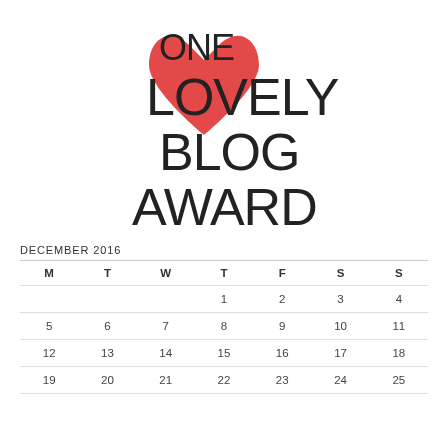[Figure (logo): One Lovely Blog Award logo with large red heart and black text reading ONE LOVELY BLOG AWARD in a tall sans-serif font]
DECEMBER 2016
| M | T | W | T | F | S | S |
| --- | --- | --- | --- | --- | --- | --- |
|  |  |  | 1 | 2 | 3 | 4 |
| 5 | 6 | 7 | 8 | 9 | 10 | 11 |
| 12 | 13 | 14 | 15 | 16 | 17 | 18 |
| 19 | 20 | 21 | 22 | 23 | 24 | 25 |